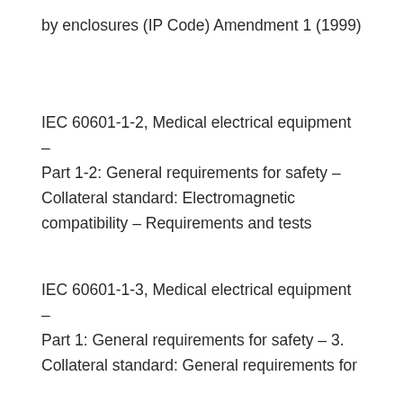by enclosures (IP Code) Amendment 1 (1999)
IEC 60601-1-2, Medical electrical equipment – Part 1-2: General requirements for safety – Collateral standard: Electromagnetic compatibility – Requirements and tests
IEC 60601-1-3, Medical electrical equipment – Part 1: General requirements for safety – 3. Collateral standard: General requirements for